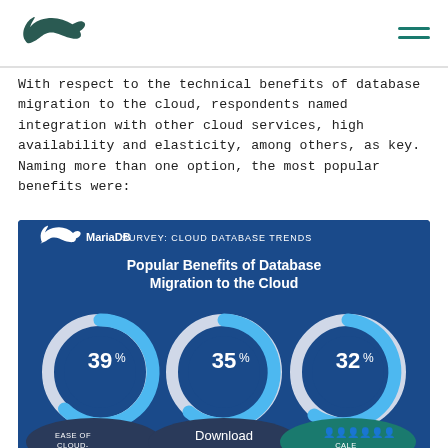MariaDB logo and navigation menu
With respect to the technical benefits of database migration to the cloud, respondents named integration with other cloud services, high availability and elasticity, among others, as key. Naming more than one option, the most popular benefits were:
[Figure (donut-chart): Three donut charts showing 39%, 35%, and 32% as popular benefits of database migration to the cloud, with partial labels visible.]